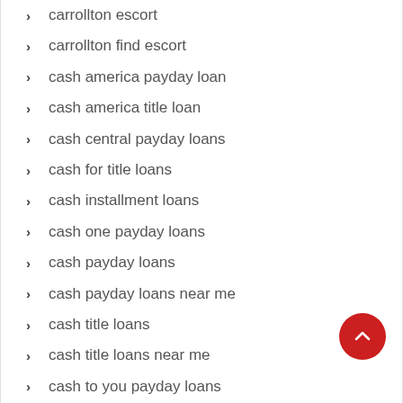carrollton escort
carrollton find escort
cash america payday loan
cash america title loan
cash central payday loans
cash for title loans
cash installment loans
cash one payday loans
cash payday loans
cash payday loans near me
cash title loans
cash title loans near me
cash to you payday loans
cashland cash america
cashland installment loans